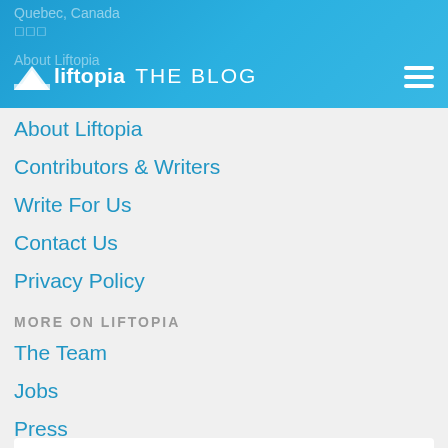liftopia THE BLOG
Quebec, Canada
About Liftopia
Contributors & Writers
Write For Us
Contact Us
Privacy Policy
MORE ON LIFTOPIA
The Team
Jobs
Press
[Figure (logo): Official Partner of US Ski & Snowboard logo]
OFFICIAL PARTNER OF